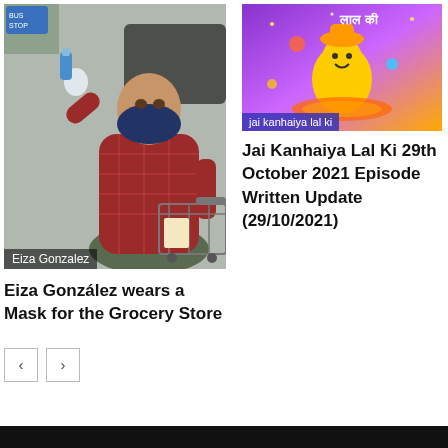[Figure (photo): Person wearing a dark bandana face mask, red hoodie, olive pants, and white gloves, pushing a shopping cart in a parking lot. Caption overlay reads 'Eiza Gonzalez'.]
Eiza González wears a Mask for the Grocery Store
[Figure (photo): Animated/cartoon scene with colorful characters and Hindi text. Caption overlay reads 'jai kanhaiya lal ki'.]
Jai Kanhaiya Lal Ki 29th October 2021 Episode Written Update (29/10/2021)